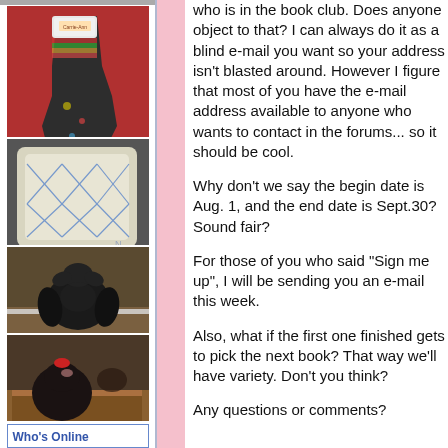[Figure (photo): Partial photo at the very top of the left column, cropped]
[Figure (photo): A Christmas stocking with colorful pattern on a red background]
[Figure (photo): A white quilted fabric with a blue cross-stitch pattern folded on a chair]
[Figure (photo): A black hen/chicken photographed from behind in a coop]
[Figure (photo): A dark chicken sitting in a nesting box with eggs]
Who's Online
who is in the book club. Does anyone object to that? I can always do it as a blind e-mail you want so your address isn't blasted around. However I figure that most of you have the e-mail address available to anyone who wants to contact in the forums... so it should be cool.
Why don't we say the begin date is Aug. 1, and the end date is Sept.30? Sound fair?
For those of you who said "Sign me up", I will be sending you an e-mail this week.
Also, what if the first one finished gets to pick the next book? That way we'll have variety. Don't you think?
Any questions or comments?